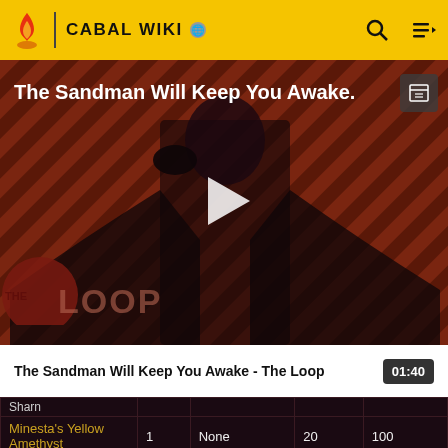CABAL WIKI
[Figure (screenshot): Video thumbnail for 'The Sandman Will Keep You Awake - The Loop' showing a dark-cloaked figure against a red diagonal striped background with THE LOOP logo and a play button overlay]
The Sandman Will Keep You Awake - The Loop  01:40
|  |  |  |  |  |
| --- | --- | --- | --- | --- |
| Sharn |  |  |  |  |
| Minesta's Yellow Amethyst | 1 | None | 20 | 100 |